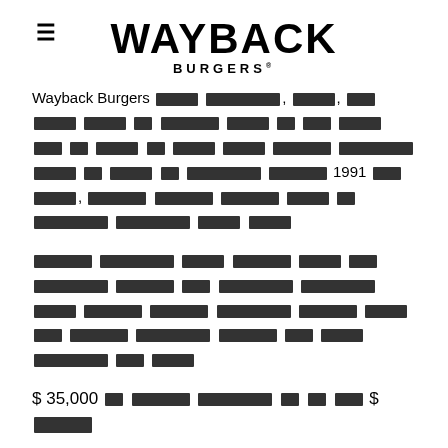WAYBACK BURGERS
Wayback Burgers [redacted] [redacted], [redacted], [redacted] [redacted] [redacted] [redacted] [redacted] [redacted] [redacted] [redacted] [redacted] [redacted] [redacted] [redacted] [redacted] [redacted] [redacted] [redacted] [redacted] [redacted] 1991 [redacted] [redacted], [redacted] [redacted] [redacted] [redacted] [redacted] [redacted] [redacted] [redacted] [redacted]
[redacted] [redacted] [redacted] [redacted] [redacted] [redacted] [redacted] [redacted] [redacted] [redacted] [redacted] [redacted] [redacted] [redacted] [redacted] [redacted] [redacted] [redacted] [redacted] [redacted] [redacted] [redacted] [redacted] [redacted] [redacted]
$ 35,000 [redacted] [redacted] [redacted] [redacted] [redacted] $ [redacted]